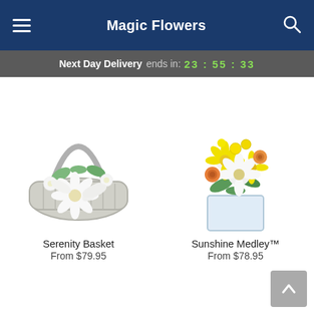Magic Flowers
Next Day Delivery ends in: 23 : 55 : 33
[Figure (photo): White flower arrangement in a white wicker basket with a handle, featuring gerbera daisies, lilies, and other white blooms with green foliage.]
Serenity Basket
From $79.95
[Figure (photo): Yellow and white flower arrangement in a square glass vase, featuring yellow daisies, white daisies, orange roses, and other colorful blooms.]
Sunshine Medley™
From $78.95